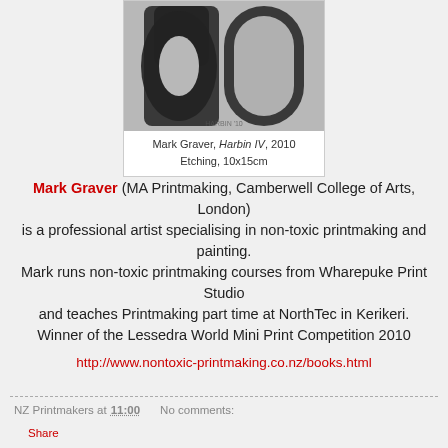[Figure (photo): Black and white etching artwork showing bold brushstroke numbers, titled Harbin IV by Mark Graver, 2010]
Mark Graver, Harbin IV, 2010
Etching, 10x15cm
Mark Graver (MA Printmaking, Camberwell College of Arts, London) is a professional artist specialising in non-toxic printmaking and painting. Mark runs non-toxic printmaking courses from Wharepuke Print Studio and teaches Printmaking part time at NorthTec in Kerikeri. Winner of the Lessedra World Mini Print Competition 2010
http://www.nontoxic-printmaking.co.nz/books.html
NZ Printmakers at 11:00    No comments:
Share